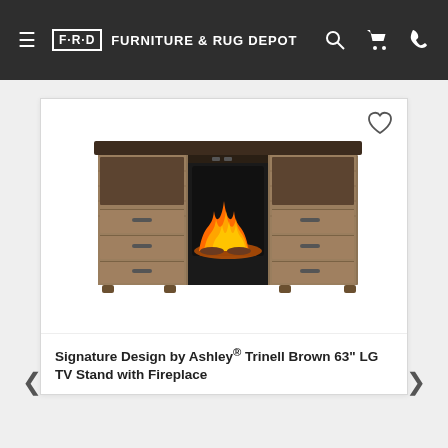F·R·D FURNITURE & RUG DEPOT
[Figure (photo): Signature Design by Ashley Trinell Brown 63" LG TV Stand with Fireplace Insert — a rustic brown wood media console with open shelves, three drawers on each side, and a glowing electric fireplace insert in the center compartment.]
Signature Design by Ashley® Trinell Brown 63" LG TV Stand with Fireplace